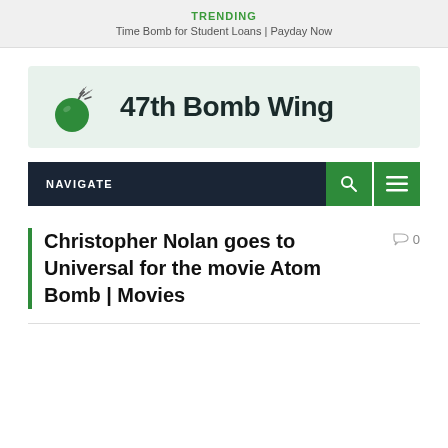TRENDING
Time Bomb for Student Loans | Payday Now
[Figure (logo): 47th Bomb Wing logo with green bomb icon and bold text]
NAVIGATE
Christopher Nolan goes to Universal for the movie Atom Bomb | Movies
0